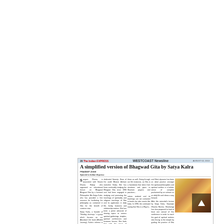02 AUGUST, 2013
20 The Indian EXPRESS
[Figure (screenshot): Newspaper clipping from The Indian EXPRESS, WESTCOAST Newsline section, dated August 02, 2013. Headline: 'A simplified version of Bhagwad Gita by Satya Kalra'. Contains article body text across multiple columns and an illustration of a Hindu deity figure (Krishna), with a play button overlay on the image.]